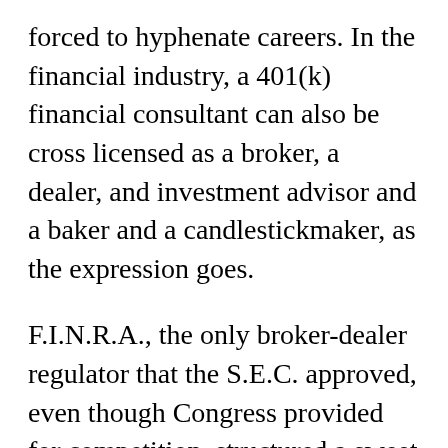forced to hyphenate careers. In the financial industry, a 401(k) financial consultant can also be cross licensed as a broker, a dealer, and investment advisor and a baker and a candlestickmaker, as the expression goes.
F.I.N.R.A., the only broker-dealer regulator that the S.E.C. approved, even though Congress provided for competition, structured a sweet set up that confuses a customer's legal complaint. F.I.N.R.A. has no oversight of Investment advisor complaints. That said F.I.N.R.A. boasts on its website to having 99.9% handling of investment client complaints in F.I.N.R.A.'s dispute resolution forum. There are over 70 F.I.N.R.A.'s dispute resolution forums